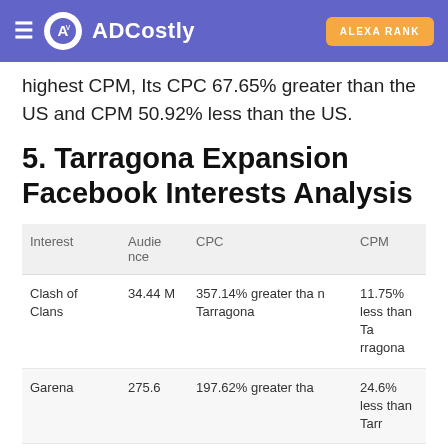ADCostly | ALEXA RANK
highest CPM, Its CPC 67.65% greater than the US and CPM 50.92% less than the US.
5. Tarragona Expansion Facebook Interests Analysis
| Interest | Audience | CPC | CPM |
| --- | --- | --- | --- |
| Clash of Clans | 34.44 M | 357.14% greater than Tarragona | 11.75% less than Tarragona |
| Garena | 275.6 | 197.62% greater tha n | 24.6% less than Tarr |